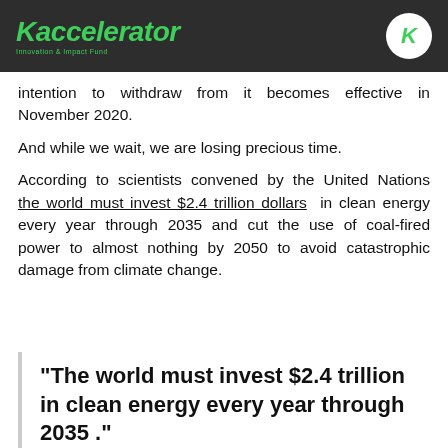Kaccelerator Innovation & Impact Fund
intention to withdraw from it becomes effective in November 2020.
And while we wait, we are losing precious time.
According to scientists convened by the United Nations the world must invest $2.4 trillion dollars in clean energy every year through 2035 and cut the use of coal-fired power to almost nothing by 2050 to avoid catastrophic damage from climate change.
"The world must invest $2.4 trillion in clean energy every year through 2035 ."